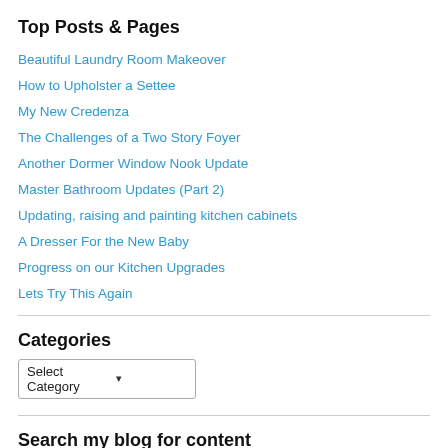Top Posts & Pages
Beautiful Laundry Room Makeover
How to Upholster a Settee
My New Credenza
The Challenges of a Two Story Foyer
Another Dormer Window Nook Update
Master Bathroom Updates (Part 2)
Updating, raising and painting kitchen cabinets
A Dresser For the New Baby
Progress on our Kitchen Upgrades
Lets Try This Again
Categories
Select Category
Search my blog for content